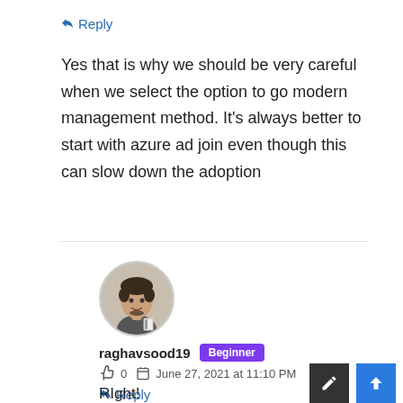↩ Reply
Yes that is why we should be very careful when we select the option to go modern management method. It's always better to start with azure ad join even though this can slow down the adoption
[Figure (photo): Circular avatar photo of a man in a dark t-shirt]
raghavsood19  Beginner
👍 0    June 27, 2021 at 11:10 PM
↩ Reply
RIght!
[Figure (other): Edit button (dark grey square with pencil icon)]
[Figure (other): Scroll to top button (blue square with up arrow icon)]